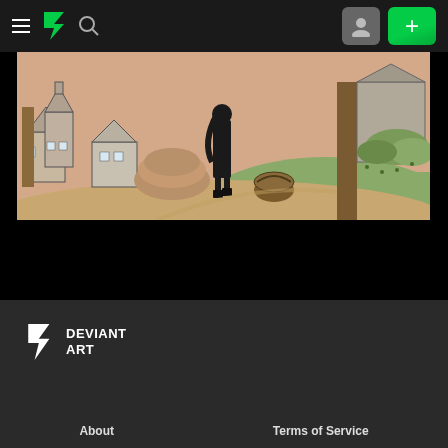DeviantArt navigation bar with hamburger menu, DA logo, search icon, user button, and add button
[Figure (illustration): A hand-drawn style illustration showing a dark-clothed figure standing in a village scene with houses, trees, stone structures, a basket on the ground, and a pinkish-tan sky background with green hills.]
[Figure (logo): DeviantArt logo in footer: lightning bolt icon with DEVIANT ART wordmark in white on dark background]
About    Terms of Service